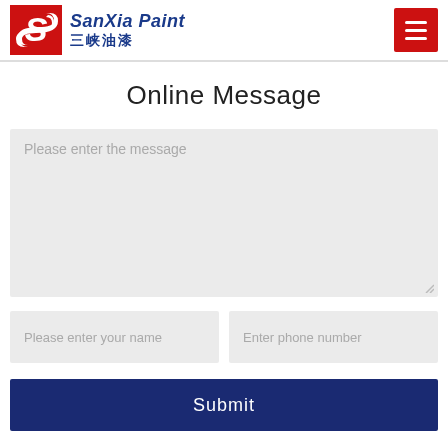SanXia Paint 三峡油漆
Online Message
Please enter the message
Please enter your name
Enter phone number
Submit